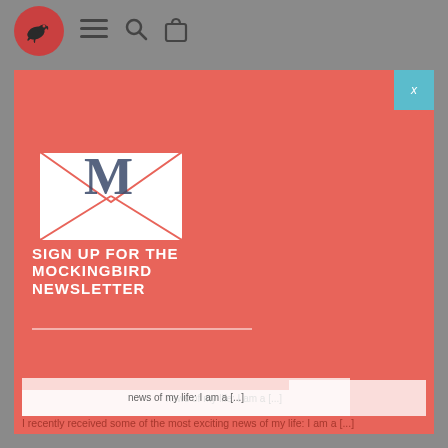Mockingbird site navigation with logo, hamburger menu, search, and bag icons
[Figure (screenshot): Website screenshot showing a coral/salmon colored page with a newsletter signup modal overlay. The modal has an envelope icon with letter M, text 'SIGN UP FOR THE MOCKINGBIRD NEWSLETTER'. Behind the modal is an article title 'ON BEING A FINALIST IN THE NEW YORKER'S CARTOON CAPTION CONTEST'. Navigation shows ART, HUMOR, TV. A teal close button with X is in the top-right corner. An email input box is partially visible at the bottom.]
SIGN UP FOR THE MOCKINGBIRD NEWSLETTER
ON BEING A FINALIST IN THE NEW YORKER'S CARTOON CAPTION CONTEST
I recently received some of the most exciting news of my life: I am a [...]